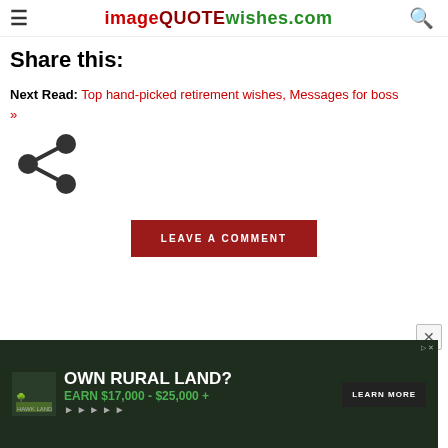imageQUOTEwishes.com
Share this:
Next Read: Top hand-picked retirement wishes, Messages for boss »
[Figure (illustration): Share icon (three connected dots forming a share symbol)]
LEAVE A COMMENT
[Figure (infographic): Advertisement banner: OWN RURAL LAND? EARN $17,000 - $25,000 + LEARN MORE]